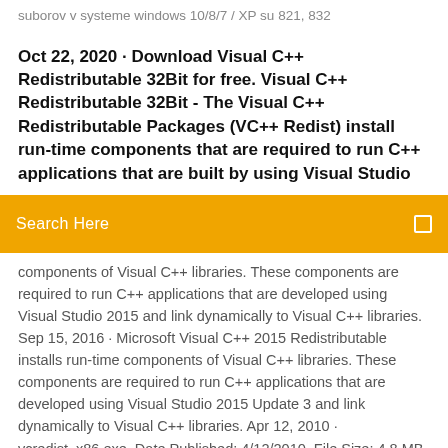suborov v systeme windows 10/8/7 / XP su 821, 832
Oct 22, 2020 · Download Visual C++ Redistributable 32Bit for free. Visual C++ Redistributable 32Bit - The Visual C++ Redistributable Packages (VC++ Redist) install run-time components that are required to run C++ applications that are built by using Visual Studio
Search Here
components of Visual C++ libraries. These components are required to run C++ applications that are developed using Visual Studio 2015 and link dynamically to Visual C++ libraries. Sep 15, 2016 · Microsoft Visual C++ 2015 Redistributable installs run-time components of Visual C++ libraries. These components are required to run C++ applications that are developed using Visual Studio 2015 Update 3 and link dynamically to Visual C++ libraries. Apr 12, 2010 · vcredist_x86.exe. Date Published: 4/12/2010. File Size: 4.8 MB. The Microsoft Visual C++ 2010 Redistributable Package installs runtime components of Visual